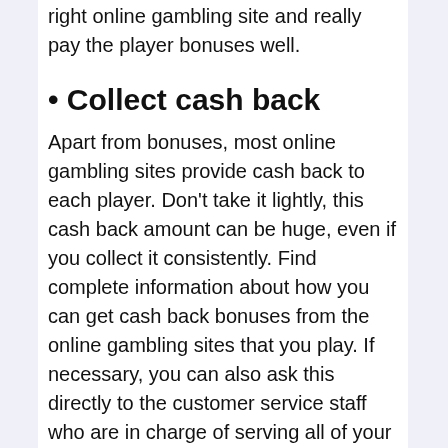right online gambling site and really pay the player bonuses well.
• Collect cash back
Apart from bonuses, most online gambling sites provide cash back to each player. Don't take it lightly, this cash back amount can be huge, even if you collect it consistently. Find complete information about how you can get cash back bonuses from the online gambling sites that you play. If necessary, you can also ask this directly to the customer service staff who are in charge of serving all of your complaints.
Usually, online slot game gambling sites will provide cash back in several forms, ranging from a discount to a number of credits for all